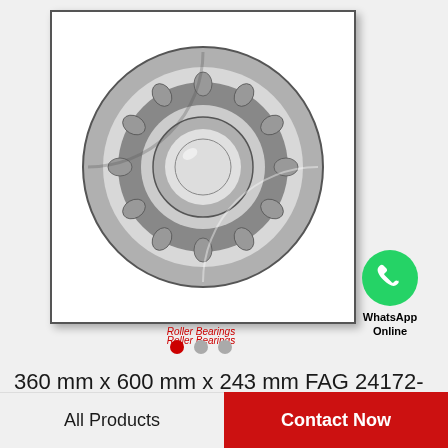[Figure (photo): FAG 24172-E1-K30 cylindrical/spherical roller bearing photographed at an angle, showing the inner and outer races with rollers, in metallic silver/chrome finish. Displayed in a white-background box with thin border and drop shadow.]
Roller Bearings
360 mm x 600 mm x 243 mm FAG 24172-E1-K30 Roller Bearings
All Products
Contact Now